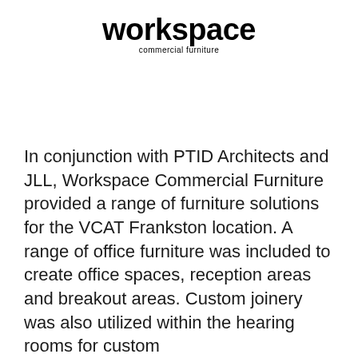[Figure (logo): Workspace Commercial Furniture logo — 'workspace' in large bold black sans-serif, with 'commercial furniture' in smaller text underneath]
In conjunction with PTID Architects and JLL, Workspace Commercial Furniture provided a range of furniture solutions for the VCAT Frankston location. A range of office furniture was included to create office spaces, reception areas and breakout areas. Custom joinery was also utilized within the hearing rooms for custom